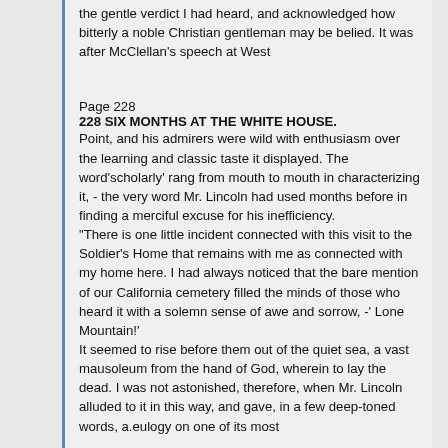the gentle verdict I had heard, and acknowledged how bitterly a noble Christian gentleman may be belied. It was after McClellan's speech at West
Page 228
228 SIX MONTHS AT THE WHITE HOUSE.
Point, and his admirers were wild with enthusiasm over the learning and classic taste it displayed. The word 'scholarly' rang from mouth to mouth in characterizing it, - the very word Mr. Lincoln had used months before in finding a merciful excuse for his inefficiency.
"There is one little incident connected with this visit to the Soldier's Home that remains with me as connected with my home here. I had always noticed that the bare mention of our California cemetery filled the minds of those who heard it with a solemn sense of awe and sorrow, -' Lone Mountain!'
It seemed to rise before them out of the quiet sea, a vast mausoleum from the hand of God, wherein to lay the dead. I was not astonished, therefore, when Mr. Lincoln alluded to it in this way, and gave, in a few deep-toned words, a.eulogy on one of its most